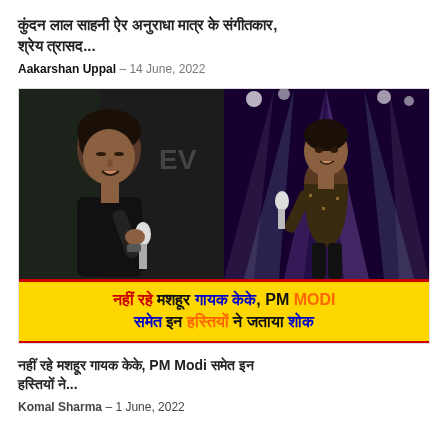[Hindi text] - Article headline in Hindi about singer KK
Aakarshan Uppal – 14 June, 2022
[Figure (photo): Composite image of singer KK performing on stage (two photos side by side). Left photo shows him singing into a microphone in a dark setting. Right photo shows him performing on a brightly lit stage with purple and blue light beams. Below the images is a yellow banner with red border containing Hindi text: 'नहीं रहे मशहूर गायक केके, PM MODI समेत इन हस्तियों ने जताया शोक']
[Hindi text] - Article headline in Hindi about singer KK, PM Modi expressing condolences
Komal Sharma – 1 June, 2022